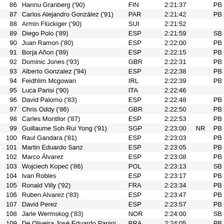| # | Name | NAT | Time | NR | Note |
| --- | --- | --- | --- | --- | --- |
| 86 | Hannu Granberg ('90) | FIN | 2:21:37 |  | PB |
| 87 | Carlos Alejandro González ('91) | PAR | 2:21:42 |  | PB |
| 88 | Armin Flückiger ('90) | SUI | 2:21:52 |  |  |
| 89 | Diego Polo ('89) | ESP | 2:21:59 |  | SB |
| 90 | Juan Ramon ('80) | ESP | 2:22:00 |  | PB |
| 91 | Borja Añon ('89) | ESP | 2:22:15 |  | PB |
| 92 | Dominic Jones ('93) | GBR | 2:22:31 |  | PB |
| 93 | Alberto Gonzalez ('94) | ESP | 2:22:38 |  | PB |
| 94 | Feidhlim Mcgowan | IRL | 2:22:39 |  | PB |
| 95 | Luca Parisi ('90) | ITA | 2:22:46 |  |  |
| 96 | David Palomo ('83) | ESP | 2:22:48 |  | PB |
| 97 | Chris Oddy ('86) | GBR | 2:22:50 |  | PB |
| 98 | Carles Montllor ('87) | ESP | 2:22:53 |  | PB |
| 99 | Guillaume Soh Rui Yong ('91) | SGP | 2:23:00 | NR | PB |
| 100 | Raul Gandara ('81) | ESP | 2:23:03 |  | PB |
| 101 | Martin Eduardo Sanz | ESP | 2:23:05 |  | PB |
| 102 | Marco Álvarez | ESP | 2:23:08 |  | PB |
| 103 | Wojciech Kopeć ('86) | POL | 2:23:13 |  | SB |
| 104 | Ivan Robles | ESP | 2:23:17 |  | PB |
| 105 | Ronald Villy ('92) | FRA | 2:23:34 |  | PB |
| 106 | Ruben Alvarez ('83) | ESP | 2:23:47 |  | PB |
| 107 | David Perez | ESP | 2:23:57 |  | PB |
| 108 | Jarle Wermskog ('83) | NOR | 2:24:00 |  | SB |
| 109 | De Oliveira José Eduardo Papini | BRA | 2:24:05 |  | PB |
| 110 | Lambros Maltezos ('94) | GRE | 2:24:05 |  | PB |
| 111 | Nicolas Zalejski ('89) | FRA | 2:24:14 |  | PB |